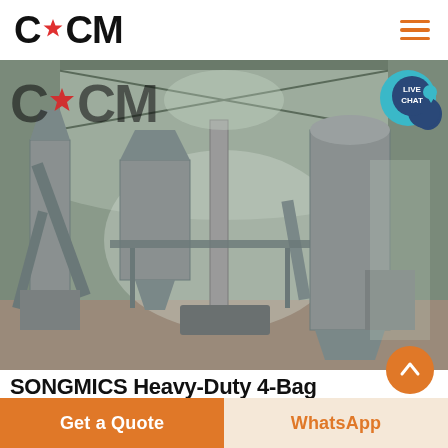CCM [with star logo] — hamburger menu
[Figure (photo): Interior of a large industrial factory/processing plant with heavy machinery, silos, conveyors, and metal structures under an arched roof. CCM logo watermark overlaid on the top-left.]
SONGMICS Heavy-Duty 4-Bag Rolling Laundry Sorter
Get a Quote
WhatsApp